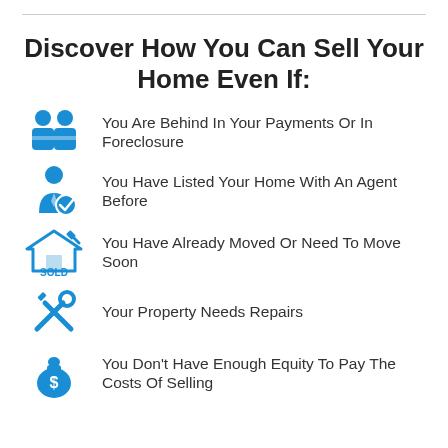Discover How You Can Sell Your Home Even If:
You Are Behind In Your Payments Or In Foreclosure
You Have Listed Your Home With An Agent Before
You Have Already Moved Or Need To Move Soon
Your Property Needs Repairs
You Don't Have Enough Equity To Pay The Costs Of Selling